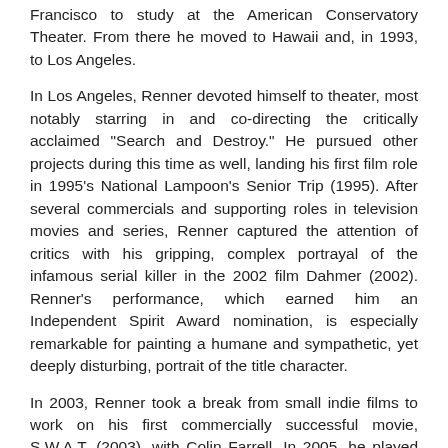Francisco to study at the American Conservatory Theater. From there he moved to Hawaii and, in 1993, to Los Angeles.
In Los Angeles, Renner devoted himself to theater, most notably starring in and co-directing the critically acclaimed "Search and Destroy." He pursued other projects during this time as well, landing his first film role in 1995's National Lampoon's Senior Trip (1995). After several commercials and supporting roles in television movies and series, Renner captured the attention of critics with his gripping, complex portrayal of the infamous serial killer in the 2002 film Dahmer (2002). Renner's performance, which earned him an Independent Spirit Award nomination, is especially remarkable for painting a humane and sympathetic, yet deeply disturbing, portrait of the title character.
In 2003, Renner took a break from small indie films to work on his first commercially successful movie, S.W.A.T. (2003), with Colin Farrell. In 2005, he played the leading role in Neo Ned (2005) as an institutionalized white supremacist in love with a black girl, winning the Palm Beach International Film Festival's best actor award. Renner's pivotal supporting roles in 2005's 12 and Holding (2005) and North Country (2005) earned him accolades from